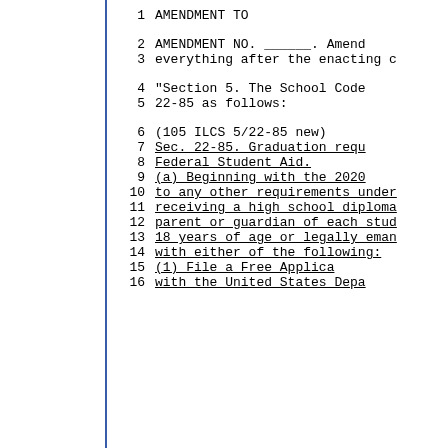1    AMENDMENT TO
2    AMENDMENT NO. ______. Amend
3    everything after the enacting c
4    "Section 5. The School Code
5    22-85 as follows:
6    (105 ILCS 5/22-85 new)
7    Sec. 22-85. Graduation requ
8    Federal Student Aid.
9    (a) Beginning with the 2020
10   to any other requirements under
11   receiving a high school diploma
12   parent or guardian of each stud
13   18 years of age or legally eman
14   with either of the following:
15   (1) File a Free Applica
16   with the United States Depa